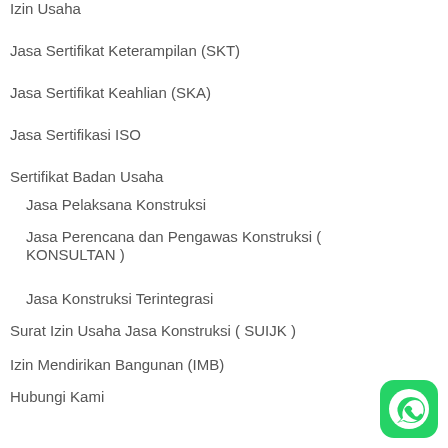Izin Usaha
Jasa Sertifikat Keterampilan (SKT)
Jasa Sertifikat Keahlian (SKA)
Jasa Sertifikasi ISO
Sertifikat Badan Usaha
Jasa Pelaksana Konstruksi
Jasa Perencana dan Pengawas Konstruksi ( KONSULTAN )
Jasa Konstruksi Terintegrasi
Surat Izin Usaha Jasa Konstruksi ( SUIJK )
Izin Mendirikan Bangunan (IMB)
Hubungi Kami
Postingan Terbaru
Dasar Hukum OSS RBA
Izin Berusaha OSS
[Figure (logo): WhatsApp contact button (green rounded square with phone icon)]